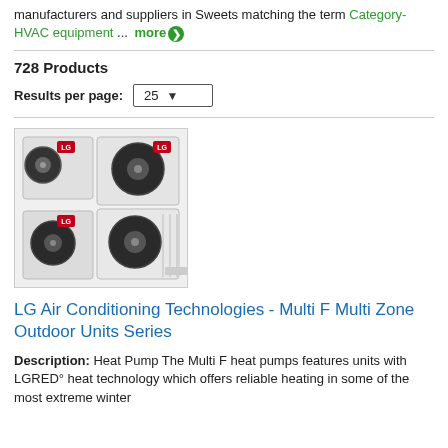manufacturers and suppliers in Sweets matching the term Category-HVAC equipment ... more
728 Products
Results per page: 25
[Figure (photo): Four LG outdoor HVAC unit condensers arranged in a 2x2 grid, showing fan grilles and LG branding logos in red.]
LG Air Conditioning Technologies - Multi F Multi Zone Outdoor Units Series
Description: Heat Pump The Multi F heat pumps features units with LGRED° heat technology which offers reliable heating in some of the most extreme winter